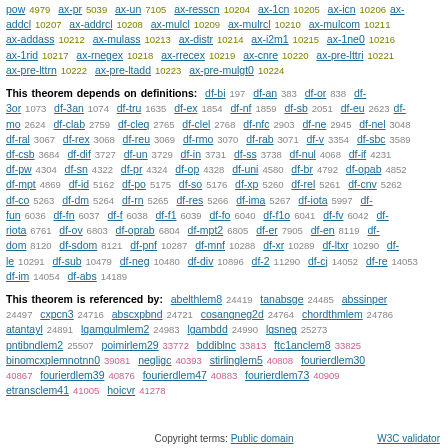pow 4979 ax-pr 5039 ax-un 7105 ax-resscn 10204 ax-1cn 10205 ax-icn 10206 ax-addcl 10207 ax-addrcl 10208 ax-mulcl 10209 ax-mulrcl 10210 ax-mulcom 10211 ax-addass 10212 ax-mulass 10213 ax-distr 10214 ax-i2m1 10215 ax-1ne0 10216 ax-1rid 10217 ax-rnegex 10218 ax-rrecex 10219 ax-cnre 10220 ax-pre-lttri 10221 ax-pre-lttrn 10222 ax-pre-ltadd 10223 ax-pre-mulgt0 10224
This theorem depends on definitions: df-bi 197 df-an 383 df-or 838 df-3or 1073 df-3an 1074 df-tru 1635 df-ex 1854 df-nf 1859 df-sb 2051 df-eu 2623 df-mo 2624 df-clab 2759 df-cleq 2765 df-clel 2768 df-nfc 2903 df-ne 2945 df-nel 3048 df-ral 3067 df-rex 3068 df-reu 3069 df-rmo 3070 df-rab 3071 df-v 3354 df-sbc 3589 df-csb 3684 df-dif 3727 df-un 3729 df-in 3731 df-ss 3738 df-nul 4068 df-if 4231 df-pw 4304 df-sn 4322 df-pr 4324 df-op 4328 df-uni 4580 df-br 4792 df-opab 4852 df-mpt 4869 df-id 5162 df-po 5175 df-so 5176 df-xp 5260 df-rel 5261 df-cnv 5262 df-co 5263 df-dm 5264 df-rn 5265 df-res 5266 df-ima 5267 df-iota 5997 df-fun 6036 df-fn 6037 df-f 6038 df-f1 6039 df-fo 6040 df-f1o 6041 df-fv 6042 df-riota 6761 df-ov 6803 df-oprab 6804 df-mpt2 6805 df-er 7905 df-en 8119 df-dom 8120 df-sdom 8121 df-pnf 10287 df-mnf 10288 df-xr 10289 df-ltxr 10290 df-le 10291 df-sub 10479 df-neg 10480 df-div 10896 df-2 11290 df-cj 14052 df-re 14053 df-im 14054 df-abs 14189
This theorem is referenced by: abelthlem8 24419 tanabsge 24485 abssinper 24497 cxpcn3 24716 abscxpbnd 24721 cosangneg2d 24764 chordthmlem 24786 atantayl 24891 lgamgulmlem2 24983 lgambdd 24990 lgsneg 25273 pntibndlem2 25507 poimirlem29 33772 bddiblnc 33813 ftc1anclem8 33825 binomcxplemnotnn0 39081 negligc 40393 stirlinglem5 40808 fourierdlem30 40867 fourierdlem39 40876 fourierdlem47 40883 fourierdlem73 40909 etransclem41 41005 hoicvr 41278
Copyright terms: Public domain    W3C validator